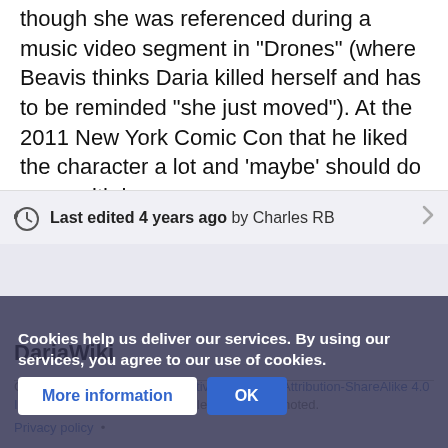though she was referenced during a music video segment in "Drones" (where Beavis thinks Daria killed herself and has to be reminded "she just moved"). At the 2011 New York Comic Con that he liked the character a lot and 'maybe' should do more with her.
Last edited 4 years ago by Charles RB
DariaWiki
Content is available under Creative Commons Attribution-ShareAlike 4.0 International (CC BY-SA 4.0) unless otherwise noted.
Privacy policy
Cookies help us deliver our services. By using our services, you agree to our use of cookies.